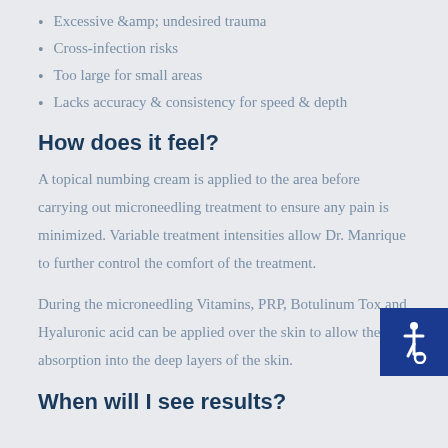Excessive &amp; undesired trauma
Cross-infection risks
Too large for small areas
Lacks accuracy & consistency for speed & depth
How does it feel?
A topical numbing cream is applied to the area before carrying out microneedling treatment to ensure any pain is minimized. Variable treatment intensities allow Dr. Manrique to further control the comfort of the treatment.
During the microneedling Vitamins, PRP, Botulinum Tox and Hyaluronic acid can be applied over the skin to allow their absorption into the deep layers of the skin.
[Figure (illustration): Accessibility wheelchair icon in a dark blue square, bottom right corner]
When will I see results?